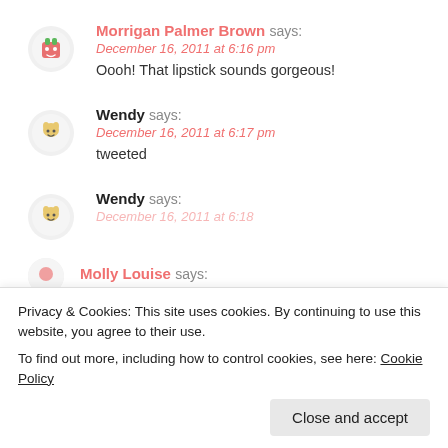Morrigan Palmer Brown says: December 16, 2011 at 6:16 pm
Oooh! That lipstick sounds gorgeous!
Wendy says: December 16, 2011 at 6:17 pm
tweeted
Wendy says: December 16, 2011 at 6:18 pm
Molly Louise says:
Privacy & Cookies: This site uses cookies. By continuing to use this website, you agree to their use.
To find out more, including how to control cookies, see here: Cookie Policy
Close and accept